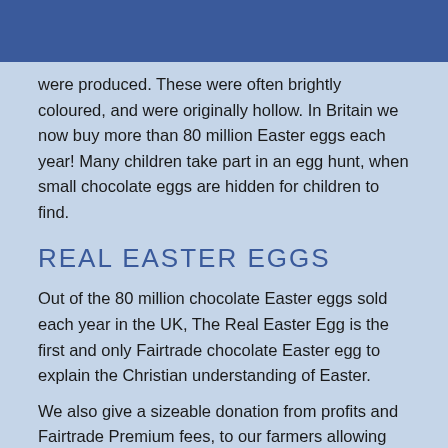were produced. These were often brightly coloured, and were originally hollow. In Britain we now buy more than 80 million Easter eggs each year! Many children take part in an egg hunt, when small chocolate eggs are hidden for children to find.
REAL EASTER EGGS
Out of the 80 million chocolate Easter eggs sold each year in the UK, The Real Easter Egg is the first and only Fairtrade chocolate Easter egg to explain the Christian understanding of Easter.
We also give a sizeable donation from profits and Fairtrade Premium fees, to our farmers allowing them to invest in their community buying everything from school books and solar panels to providing fresh water.